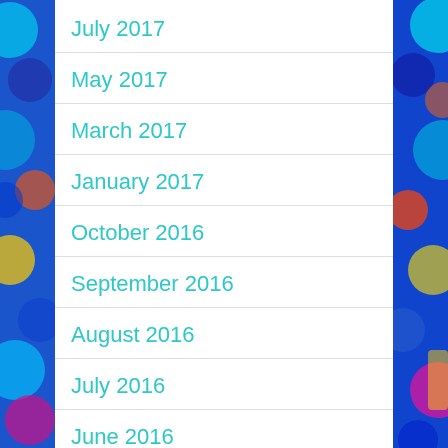July 2017
May 2017
March 2017
January 2017
October 2016
September 2016
August 2016
July 2016
June 2016